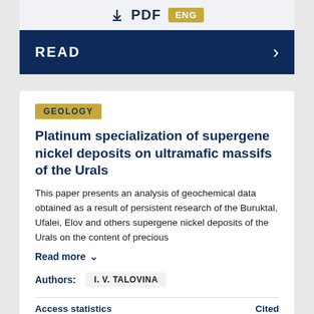PDF ENG
READ
GEOLOGY
Platinum specialization of supergene nickel deposits on ultramafic massifs of the Urals
This paper presents an analysis of geochemical data obtained as a result of persistent research of the Buruktal, Ufalei, Elov and others supergene nickel deposits of the Urals on the content of precious
Read more
Authors: I. V. TALOVINA
Access statistics  Cited